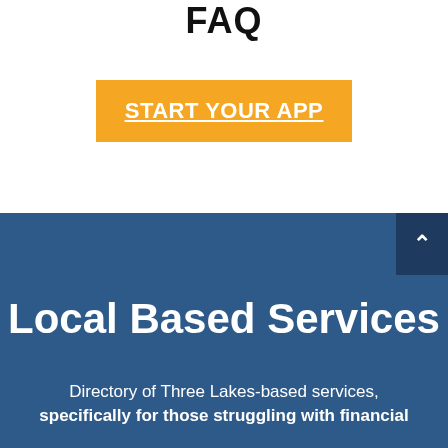FAQ
START YOUR APP
Local Based Services
Directory of Three Lakes-based services, specifically for those struggling with financial